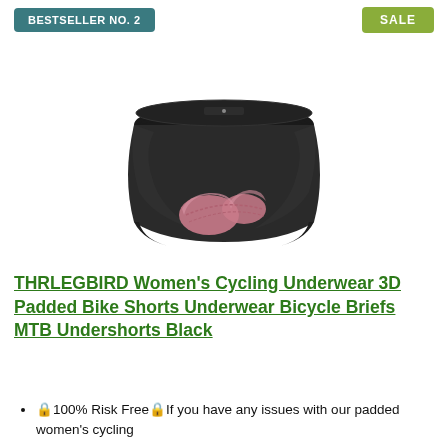BESTSELLER NO. 2
SALE
[Figure (photo): Black cycling underwear briefs with pink 3D padded insert, shown from the front/back view on a white background.]
THRLEGBIRD Women's Cycling Underwear 3D Padded Bike Shorts Underwear Bicycle Briefs MTB Undershorts Black
🔒100% Risk Free🔒If you have any issues with our padded women's cycling